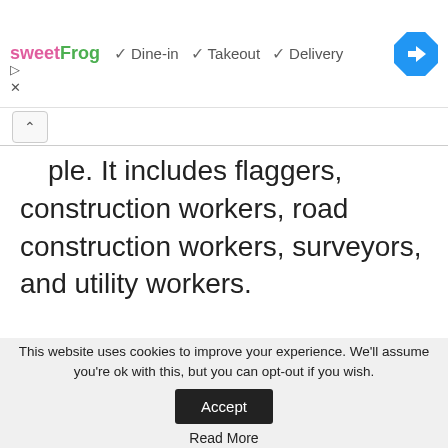[Figure (screenshot): Advertisement banner for sweetFrog showing Dine-in, Takeout, and Delivery checkmarks with a blue diamond navigation icon]
people. It includes flaggers, construction workers, road construction workers, surveyors, and utility workers.
RELATED POSTS
[Figure (photo): Photo of a shirtless man against a blue background for the related post Special For Men]
Special For Men
Alex
This website uses cookies to improve your experience. We'll assume you're ok with this, but you can opt-out if you wish. Accept Read More